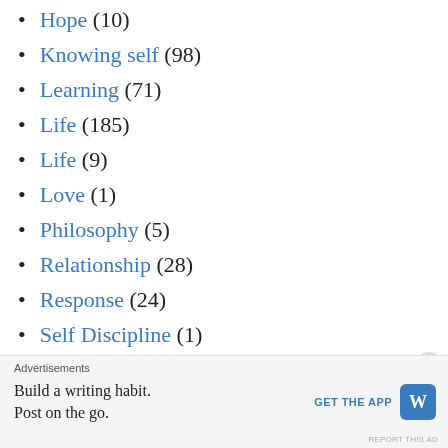Hope (10)
Knowing self (98)
Learning (71)
Life (185)
Life (9)
Love (1)
Philosophy (5)
Relationship (28)
Response (24)
Self Discipline (1)
Success (65)
Time Management (4)
Values (29)
Working Life (7)
Advertisements
Build a writing habit. Post on the go. GET THE APP